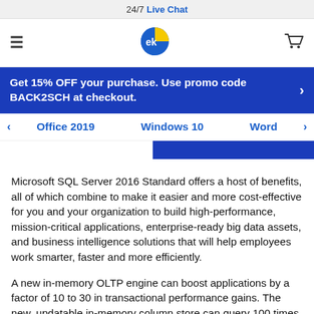24/7 Live Chat
[Figure (logo): EK logo — blue and yellow circular logo with stylized letters]
Get 15% OFF your purchase. Use promo code BACK2SCH at checkout.
Office 2019  Windows 10  Word
Microsoft SQL Server 2016 Standard offers a host of benefits, all of which combine to make it easier and more cost-effective for you and your organization to build high-performance, mission-critical applications, enterprise-ready big data assets, and business intelligence solutions that will help employees work smarter, faster and more efficiently.
A new in-memory OLTP engine can boost applications by a factor of 10 to 30 in transactional performance gains. The new, updatable in-memory column store can query 100 times faster.